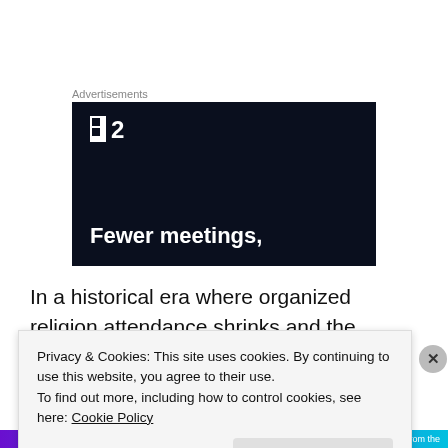Advertisements
[Figure (screenshot): Dark advertisement banner with white logo showing two squares and bold number 2, with tagline 'Fewer meetings,']
In a historical era where organized religion attendance shrinks and the middle class work day expands
Privacy & Cookies: This site uses cookies. By continuing to use this website, you agree to their use.
To find out more, including how to control cookies, see here: Cookie Policy
Close and accept